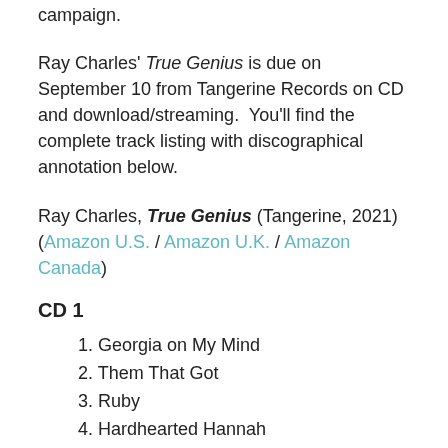campaign.
Ray Charles' True Genius is due on September 10 from Tangerine Records on CD and download/streaming.  You'll find the complete track listing with discographical annotation below.
Ray Charles, True Genius (Tangerine, 2021) (Amazon U.S. / Amazon U.K. / Amazon Canada)
CD 1
1. Georgia on My Mind
2. Them That Got
3. Ruby
4. Hardhearted Hannah
5. One Mint Julep